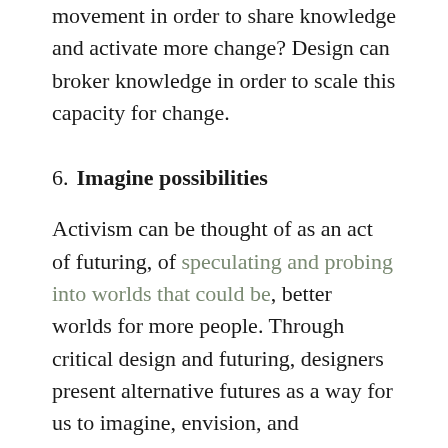movement in order to share knowledge and activate more change? Design can broker knowledge in order to scale this capacity for change.
6. Imagine possibilities
Activism can be thought of as an act of futuring, of speculating and probing into worlds that could be, better worlds for more people. Through critical design and futuring, designers present alternative futures as a way for us to imagine, envision, and potentially create radical new alternatives to discriminatory systems. Designers who think and work in an afro-futurist mode